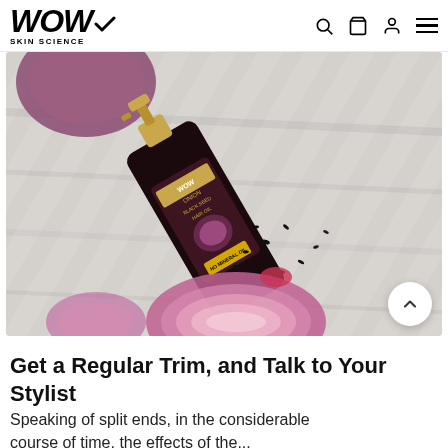WOW SKIN SCIENCE
[Figure (photo): WOW Onion Black Seed Hair Oil bottle lying on marble surface surrounded by black seeds, red onion slices, and onion halves. The dark bottle has a gold pump top with product label visible.]
Get a Regular Trim, and Talk to Your Stylist
Speaking of split ends, in the considerable course of time, the effects of the...